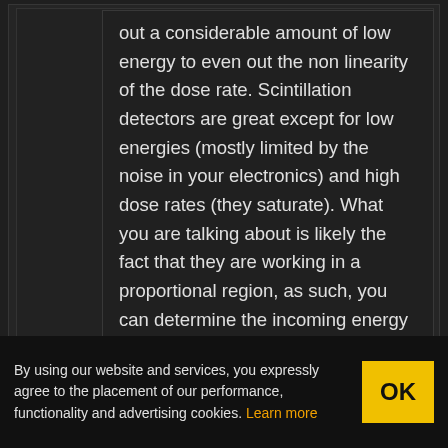out a considerable amount of low energy to even out the non linearity of the dose rate. Scintillation detectors are great except for low energies (mostly limited by the noise in your electronics) and high dose rates (they saturate). What you are talking about is likely the fact that they are working in a proportional region, as such, you can determine the incoming energy amount (and do isotope identification).
Report comment
Garbz says:
By using our website and services, you expressly agree to the placement of our performance, functionality and advertising cookies. Learn more